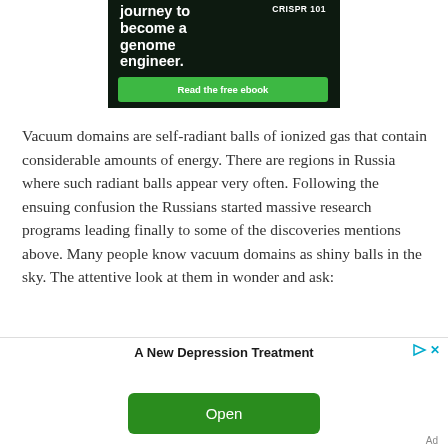[Figure (illustration): Advertisement banner showing dark background with bold white text reading 'journey to become a genome engineer.' and a green button 'Read the free ebook'. CRISPR 101 book label visible top right.]
Vacuum domains are self-radiant balls of ionized gas that contain considerable amounts of energy. There are regions in Russia where such radiant balls appear very often. Following the ensuing confusion the Russians started massive research programs leading finally to some of the discoveries mentions above. Many people know vacuum domains as shiny balls in the sky. The attentive look at them in wonder and ask:
[Figure (illustration): Advertisement banner: 'A New Depression Treatment' with play and close icons, and a green 'Open' button. Small 'Ad' label bottom right.]